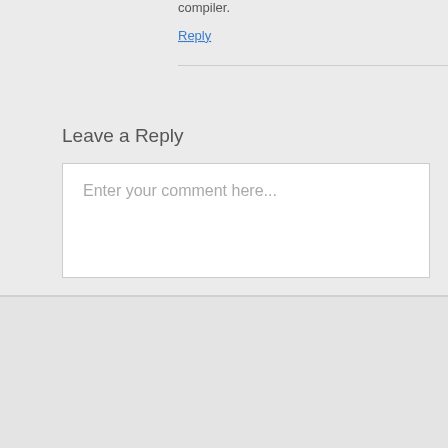compiler.
Reply
Leave a Reply
Enter your comment here...
↑ Back to top
Mobile  Desktop